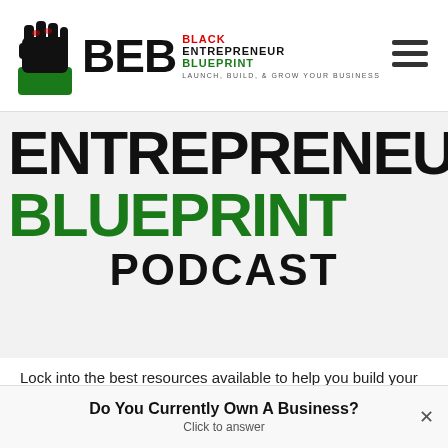[Figure (logo): Black Entrepreneur Blueprint logo with fist icon and BEB letters with tagline LAUNCH, BUILD, & GROW YOUR BUSINESS]
ENTREPRENEUR BLUEPRINT PODCAST
Lock into the best resources available to help you build your successful, sustainable business and cut down your learning curve saving you time
Do You Currently Own A Business? Click to answer